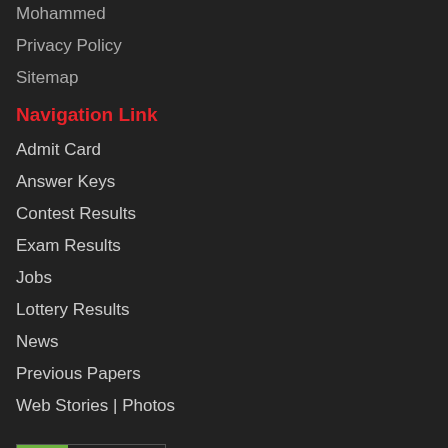Mohammed
Privacy Policy
Sitemap
Navigation Link
Admit Card
Answer Keys
Contest Results
Exam Results
Jobs
Lottery Results
News
Previous Papers
Web Stories | Photos
[Figure (logo): DMCA PROTECTED badge with green DMCA label and dark PROTECTED text]
Contact US